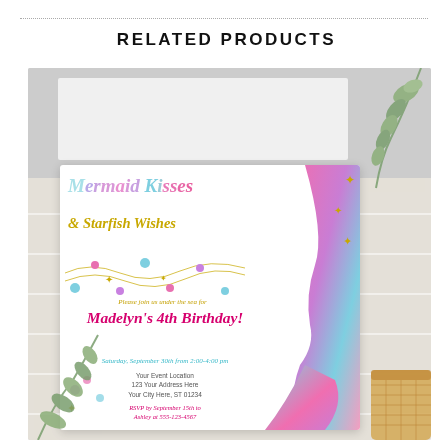RELATED PRODUCTS
[Figure (illustration): Product listing image showing a mermaid birthday party invitation card with text 'Mermaid Kisses & Starfish Wishes' and 'Madelyn's 4th Birthday!' with mermaid tail watercolor illustration, eucalyptus greenery and wicker basket as props, PUGGYPRINTS.COM watermark]